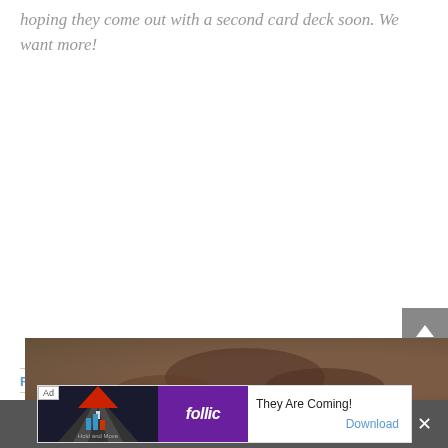hoping they come out with a second card deck soon. We want more!
FROM OUR PARTNERS, THEY'RE COOL
[Figure (screenshot): Ad banner: 'Hold and Move' game ad by Follic. Shows a dark road scene on the left, purple Follic logo in the middle, and text 'They Are Coming!' with a 'Download' link on the right. 'Ad' label in top-left corner.]
[Figure (screenshot): Share This bar at the bottom of the page with a downward chevron and an X close button. Below the main content area is a partial photo of what appears to be food/drink.]